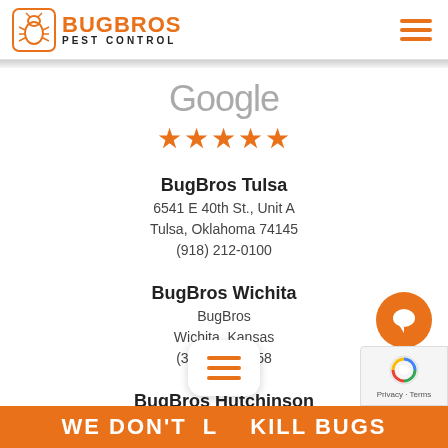[Figure (logo): BugBros Pest Control logo with orange bug icon and hamburger menu icon]
Google ★★★★★
BugBros Tulsa
6541 E 40th St., Unit A
Tulsa, Oklahoma 74145
(918) 212-0100
BugBros Wichita
BugBros
Wichita, Kansas
(316) 201-9358
BugBros Hutchinson
BugBros
Hutchinson, Kansas
(620) 663-4013
WE DON'T ... KILL BUGS